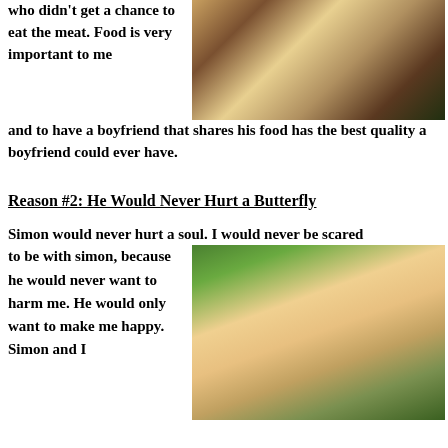who didn't get a chance to eat the meat. Food is very important to me and to have a boyfriend that shares his food has the best quality a boyfriend could ever have.
[Figure (photo): Children sharing food from a plate]
Reason #2: He Would Never Hurt a Butterfly
Simon would never hurt a soul. I would never be scared to be with simon, because he would never want to harm me. He would only want to make me happy. Simon and I
[Figure (photo): A child hugging a golden retriever dog on grass]